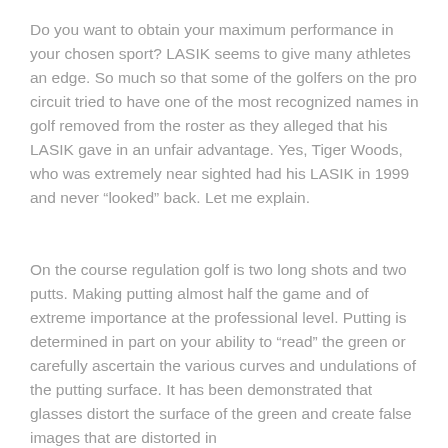Do you want to obtain your maximum performance in your chosen sport? LASIK seems to give many athletes an edge. So much so that some of the golfers on the pro circuit tried to have one of the most recognized names in golf removed from the roster as they alleged that his LASIK gave in an unfair advantage. Yes, Tiger Woods, who was extremely near sighted had his LASIK in 1999 and never “looked” back. Let me explain.
On the course regulation golf is two long shots and two putts. Making putting almost half the game and of extreme importance at the professional level. Putting is determined in part on your ability to “read” the green or carefully ascertain the various curves and undulations of the putting surface. It has been demonstrated that glasses distort the surface of the green and create false images that are distorted in